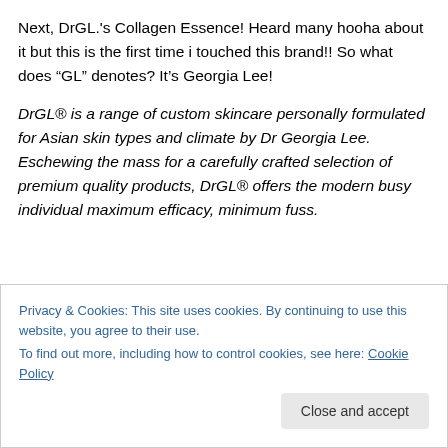Next, DrGL.'s Collagen Essence! Heard many hooha about it but this is the first time i touched this brand!! So what does “GL” denotes? It’s Georgia Lee!
DrGL® is a range of custom skincare personally formulated for Asian skin types and climate by Dr Georgia Lee. Eschewing the mass for a carefully crafted selection of premium quality products, DrGL® offers the modern busy individual maximum efficacy, minimum fuss.
Privacy & Cookies: This site uses cookies. By continuing to use this website, you agree to their use.
To find out more, including how to control cookies, see here: Cookie Policy